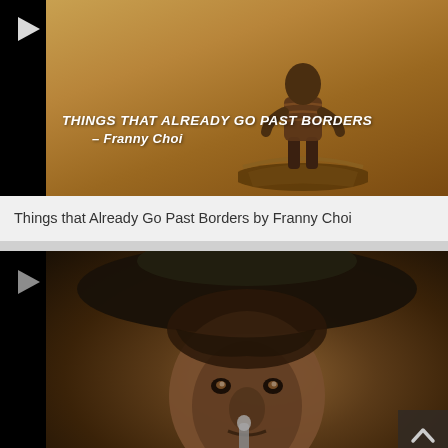[Figure (photo): Video thumbnail showing a person sitting on a boat against a warm sepia/golden background, with bold italic white text overlay reading 'THINGS THAT ALREADY GO PAST BORDERS – Franny Choi'. A play button is visible on the left.]
Things that Already Go Past Borders by Franny Choi
[Figure (photo): Video thumbnail showing a close-up portrait of a man wearing a wide-brimmed hat, holding what appears to be a microphone close to his face. Dark, moody tones. A play button is visible on the left and a back-to-top button is in the lower right.]